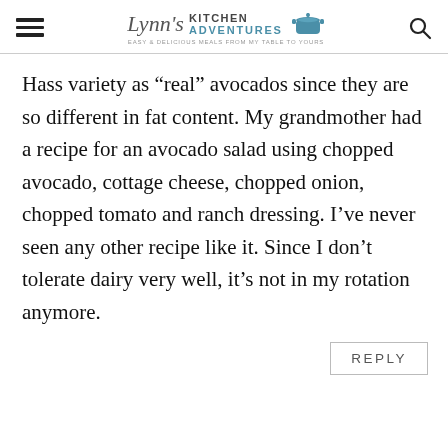Lynn's Kitchen Adventures — Easy & Delicious Meals From My Table To Yours
Hass variety as “real” avocados since they are so different in fat content. My grandmother had a recipe for an avocado salad using chopped avocado, cottage cheese, chopped onion, chopped tomato and ranch dressing. I’ve never seen any other recipe like it. Since I don’t tolerate dairy very well, it’s not in my rotation anymore.
REPLY